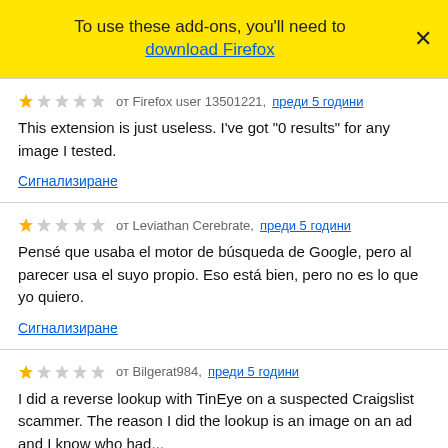To use these add-ons, you'll need to download Firefox
от Firefox user 13501221, преди 5 години
This extension is just useless. I've got "0 results" for any image I tested.
Сигнализиране
от Leviathan Cerebrate, преди 5 години
Pensé que usaba el motor de búsqueda de Google, pero al parecer usa el suyo propio. Eso está bien, pero no es lo que yo quiero.
Сигнализиране
от Bilgerat984, преди 5 години
I did a reverse lookup with TinEye on a suspected Craigslist scammer. The reason I did the lookup is an image on an ad and I know who had...